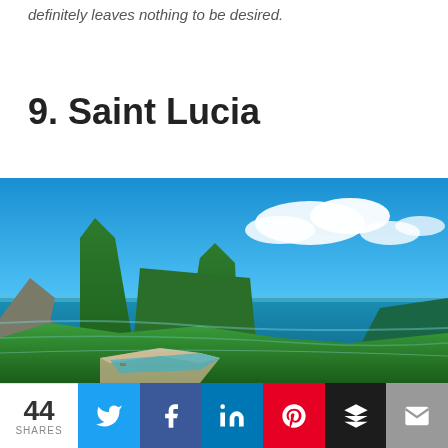definitely leaves nothing to be desired.
9. Saint Lucia
[Figure (photo): Aerial view of Saint Lucia's Piton mountains with lush green tropical vegetation, a beach cove, and deep blue Caribbean sea under a bright blue sky with white clouds.]
44 SHARES — Social share bar with Twitter, Facebook, LinkedIn, Pinterest, Buffer, Email buttons